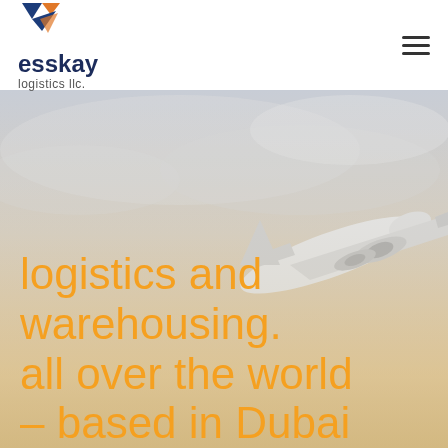[Figure (logo): Esskay Logistics LLC logo with triangular icon in blue and orange, company name in dark blue, subtitle 'logistics llc.' in grey]
[Figure (photo): Hero background image of a large commercial airplane climbing in a warm hazy sky, warm orange-grey tones]
logistics and warehousing. all over the world – based in Dubai